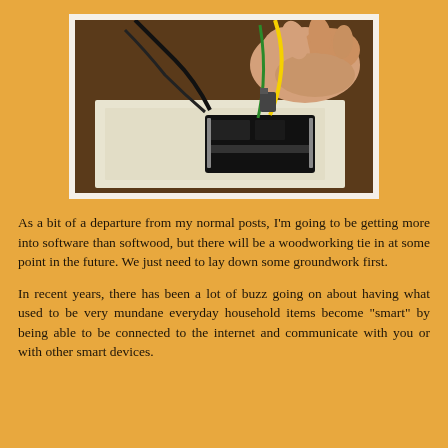[Figure (photo): A hand holding wires (yellow and green) being connected to a microcontroller board (likely an ESP8266 or similar) mounted on a white breadboard on a wooden surface. Black wires also visible.]
As a bit of a departure from my normal posts, I'm going to be getting more into software than softwood, but there will be a woodworking tie in at some point in the future. We just need to lay down some groundwork first.
In recent years, there has been a lot of buzz going on about having what used to be very mundane everyday household items become "smart" by being able to be connected to the internet and communicate with you or with other smart devices.